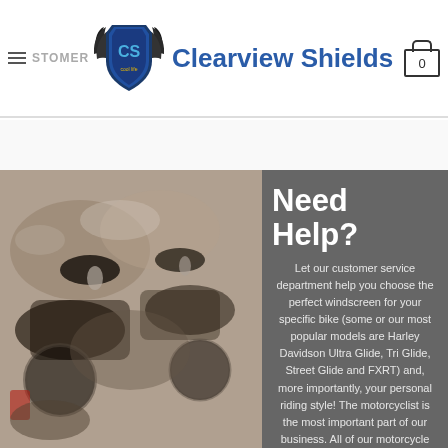Clearview Shields
[Figure (screenshot): Clearview Shields website screenshot showing header with logo, navigation menu icon, brand name, and shopping cart icon with 0 items]
Need Help?
Let our customer service department help you choose the perfect windscreen for your specific bike (some or our most popular models are Harley Davidson Ultra Glide, Tri Glide, Street Glide and FXRT) and, more importantly, your personal riding style! The motorcyclist is the most important part of our business. All of our motorcycle windscreens are D.O.T. approved – your safety is important to us!